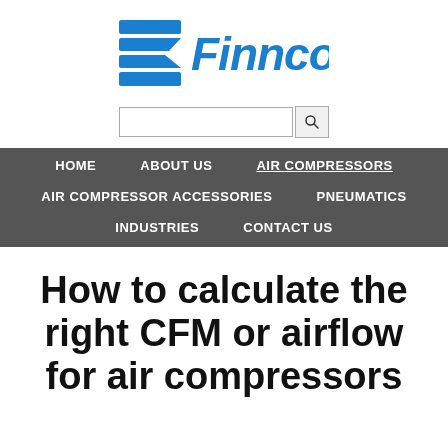[Figure (logo): Finnco company logo with stylized blue double-S chevron icon and blue Finnco wordmark]
[Figure (other): Search input box with search button icon]
HOME   ABOUT US   AIR COMPRESSORS   AIR COMPRESSOR ACCESSORIES   PNEUMATICS   INDUSTRIES   CONTACT US
How to calculate the right CFM or airflow for air compressors